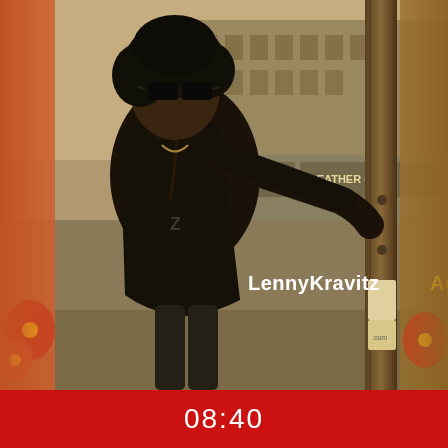[Figure (photo): Album cover for Lenny Kravitz 'Again' single. Sepia-toned black and white photo of Lenny Kravitz wearing sunglasses and a dark jacket, standing on a city street corner leaning against a wooden utility pole. Urban storefronts visible in background including signs reading 'CTION' and 'LEATHER CO'. Text on the cover reads 'LennyKravitzAgain' with 'LennyKravitz' in white and 'Again' in yellow. Partial colorful album covers visible on left and right edges.]
08:40